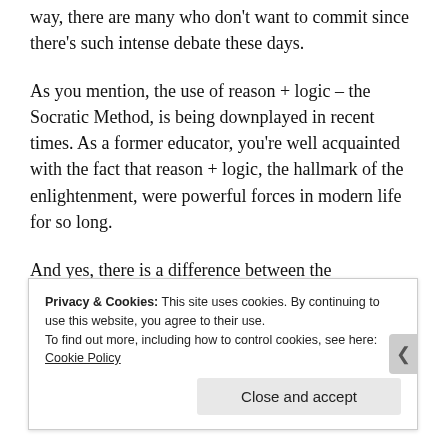way, there are many who don't want to commit since there's such intense debate these days.
As you mention, the use of reason + logic – the Socratic Method, is being downplayed in recent times. As a former educator, you're well acquainted with the fact that reason + logic, the hallmark of the enlightenment, were powerful forces in modern life for so long.
And yes, there is a difference between the
Privacy & Cookies: This site uses cookies. By continuing to use this website, you agree to their use.
To find out more, including how to control cookies, see here: Cookie Policy